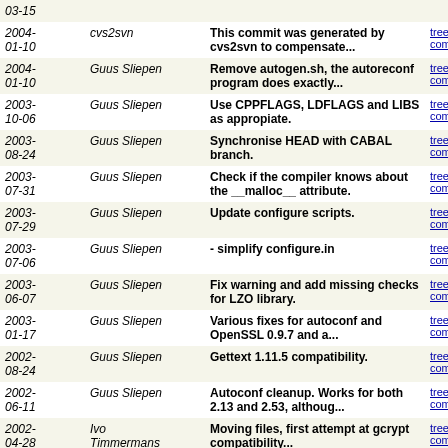| Date | Author | Message | Links |
| --- | --- | --- | --- |
| 2004-01-10 | cvs2svn | This commit was generated by cvs2svn to compensate... | tree | commitdiff |
| 2004-01-10 | Guus Sliepen | Remove autogen.sh, the autoreconf program does exactly... | tree | commitdiff |
| 2003-10-06 | Guus Sliepen | Use CPPFLAGS, LDFLAGS and LIBS as appropiate. | tree | commitdiff |
| 2003-08-24 | Guus Sliepen | Synchronise HEAD with CABAL branch. | tree | commitdiff |
| 2003-07-31 | Guus Sliepen | Check if the compiler knows about the __malloc__ attribute. | tree | commitdiff |
| 2003-07-29 | Guus Sliepen | Update configure scripts. | tree | commitdiff |
| 2003-07-06 | Guus Sliepen | - simplify configure.in | tree | commitdiff |
| 2003-06-07 | Guus Sliepen | Fix warning and add missing checks for LZO library. | tree | commitdiff |
| 2003-01-17 | Guus Sliepen | Various fixes for autoconf and OpenSSL 0.9.7 and a... | tree | commitdiff |
| 2002-08-24 | Guus Sliepen | Gettext 1.11.5 compatibility. | tree | commitdiff |
| 2002-06-11 | Guus Sliepen | Autoconf cleanup. Works for both 2.13 and 2.53, althoug... | tree | commitdiff |
| 2002-04-28 | Ivo Timmermans | Moving files, first attempt at gcrypt compatibility... | tree | commitdiff |
| 2002- | Ivo | Last bits (hopefully) | tree | commitdiff |